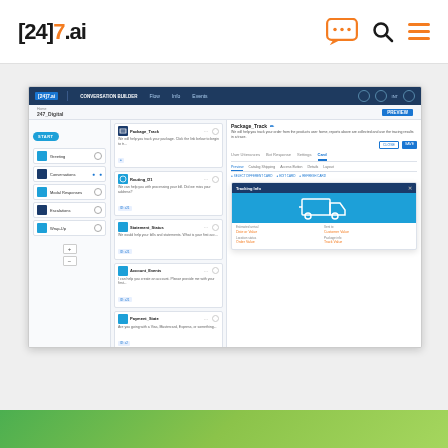[Figure (screenshot): [24]7.ai website header with logo on left and chat bubble, search, and hamburger menu icons on right]
[Figure (screenshot): Screenshot of [24]7.ai Conversation Builder interface showing flow builder with nodes on left, card list in middle, and Package_Track detail panel on right with Tracking Info popup card showing truck delivery icon and fields for Estimated arrival, Sent to, Location status, Package info]